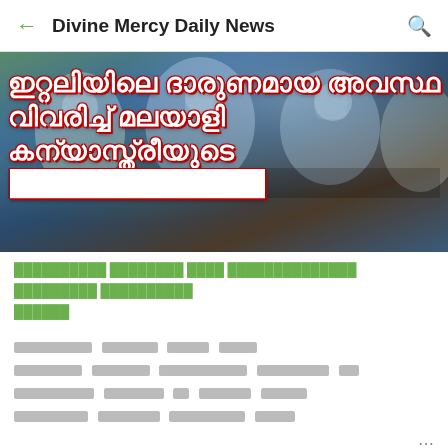← Divine Mercy Daily News 🔍
[Figure (photo): News banner showing medical workers in protective gear/hazmat suits in a clinical setting, with Malayalam text overlay reading news headline about Italy situation described by a Malayalam nun]
Malayalam text subtitle/description in green (article title in Malayalam script)
Article body text shown as placeholder blocks (Malayalam content, unreadable due to font rendering as boxes)
[Figure (photo): Left thumbnail: black and white photo of person with metallic balloon/object, with Divine Mercy Daily News watermark]
[Figure (photo): Right thumbnail: religious illustration of Jesus Christ with golden halo/aura, with Divine Mercy Daily News watermark]